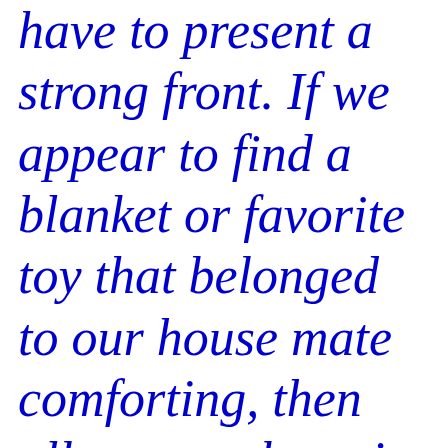have to present a strong front.  If we appear to find a blanket or favorite toy that belonged to our house mate comforting, then allow us to have it.  You don't have to